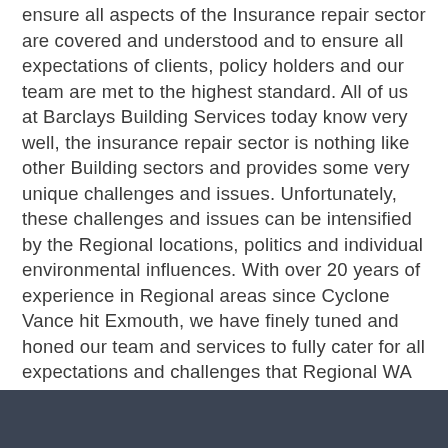ensure all aspects of the Insurance repair sector are covered and understood and to ensure all expectations of clients, policy holders and our team are met to the highest standard. All of us at Barclays Building Services today know very well, the insurance repair sector is nothing like other Building sectors and provides some very unique challenges and issues. Unfortunately, these challenges and issues can be intensified by the Regional locations, politics and individual environmental influences. With over 20 years of experience in Regional areas since Cyclone Vance hit Exmouth, we have finely tuned and honed our team and services to fully cater for all expectations and challenges that Regional WA can throw at us.